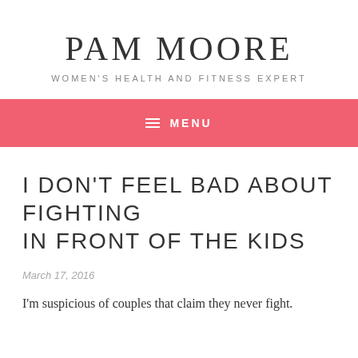PAM MOORE
WOMEN'S HEALTH AND FITNESS EXPERT
≡ MENU
I DON'T FEEL BAD ABOUT FIGHTING IN FRONT OF THE KIDS
March 17, 2016
I'm suspicious of couples that claim they never fight.